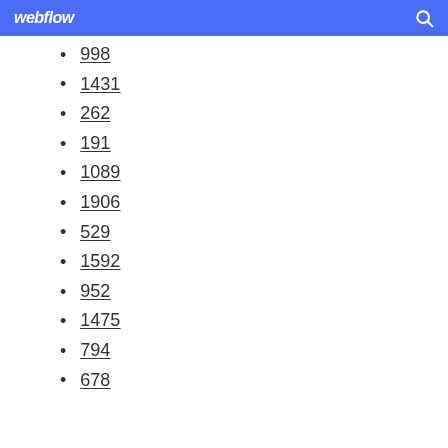webflow
998
1431
262
191
1089
1906
529
1592
952
1475
794
678